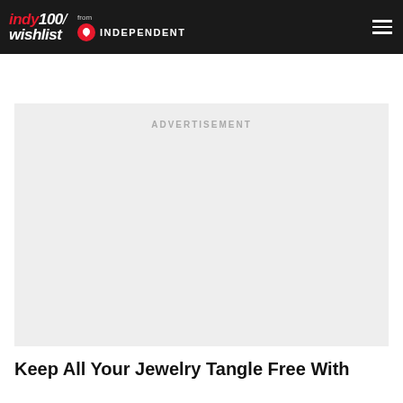indy100/ wishlist from INDEPENDENT
[Figure (other): Advertisement placeholder box with text 'ADVERTISEMENT' centered at top]
Keep All Your Jewelry Tangle Free With